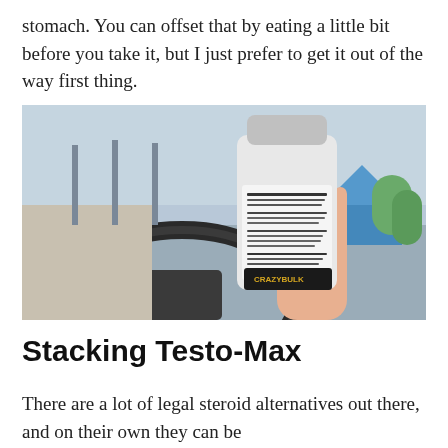stomach. You can offset that by eating a little bit before you take it, but I just prefer to get it out of the way first thing.
[Figure (photo): A hand holding a white supplement bottle (Testo-Max / Testogen brand) with the label facing the camera, photographed from inside a car with a steering wheel visible and an outdoor parking area in the background.]
Stacking Testo-Max
There are a lot of legal steroid alternatives out there, and on their own they can be